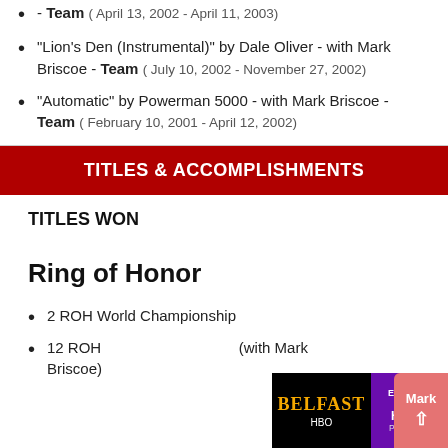- Team ( April 13, 2002 - April 11, 2003)
"Lion's Den (Instrumental)" by Dale Oliver - with Mark Briscoe - Team ( July 10, 2002 - November 27, 2002)
"Automatic" by Powerman 5000 - with Mark Briscoe - Team ( February 10, 2001 - April 12, 2002)
TITLES & ACCOMPLISHMENTS
TITLES WON
Ring of Honor
2 ROH World Championship
12 ROH (with Mark Briscoe)
[Figure (screenshot): Advertisement overlay showing Belfast HBO Max promotional banner with 'EXPLORE AWAY' text and 'PLANS ST' text, alongside a red 'Mark' button with up arrow]